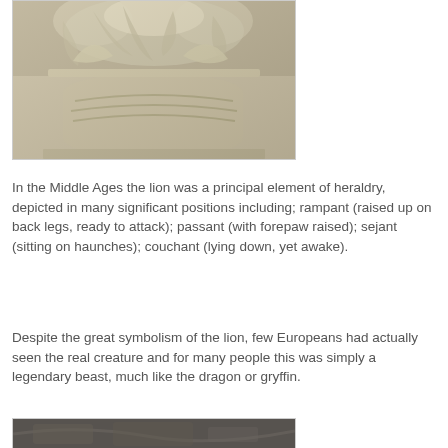[Figure (photo): Close-up photograph of a carved stone column capital with ornate decorative relief work, showing classical architectural detail in light beige/cream stone.]
In the Middle Ages the lion was a principal element of heraldry, depicted in many significant positions including; rampant (raised up on back legs, ready to attack); passant (with forepaw raised); sejant (sitting on haunches); couchant (lying down, yet awake).
Despite the great symbolism of the lion, few Europeans had actually seen the real creature and for many people this was simply a legendary beast, much like the dragon or gryffin.
[Figure (photo): Partial view of another carved stone architectural detail, darker in tone, partially visible at the bottom of the page.]